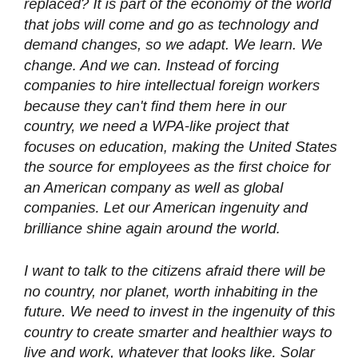replaced? It is part of the economy of the world that jobs will come and go as technology and demand changes, so we adapt. We learn. We change. And we can. Instead of forcing companies to hire intellectual foreign workers because they can't find them here in our country, we need a WPA-like project that focuses on education, making the United States the source for employees as the first choice for an American company as well as global companies. Let our American ingenuity and brilliance shine again around the world.
I want to talk to the citizens afraid there will be no country, nor planet, worth inhabiting in the future. We need to invest in the ingenuity of this country to create smarter and healthier ways to live and work, whatever that looks like. Solar power, cold fusion, wind, ocean currents, we need to focus on renewable energy sources and stop relying upon